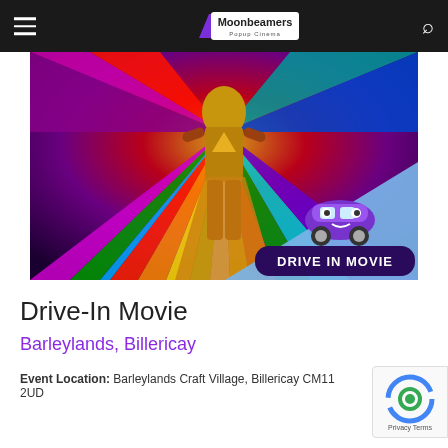Moonbeamers Popup Cinema
[Figure (photo): Movie promotional image showing Wonder Woman 1984 with colorful radiating costume, overlaid with a blue triangle and 'Drive In Movie' logo featuring a purple cartoon car]
Drive-In Movie
Barleylands, Billericay
Event Location: Barleylands Craft Village, Billericay CM11 2UD